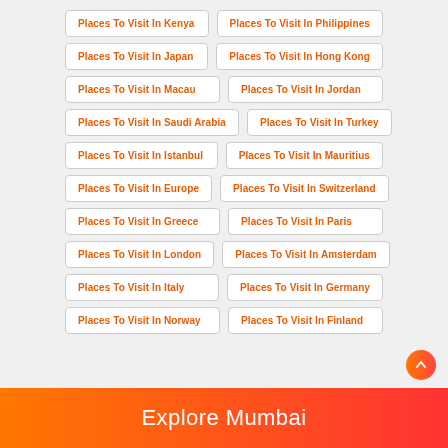Places To Visit In Kenya
Places To Visit In Philippines
Places To Visit In Japan
Places To Visit In Hong Kong
Places To Visit In Macau
Places To Visit In Jordan
Places To Visit In Saudi Arabia
Places To Visit In Turkey
Places To Visit In Istanbul
Places To Visit In Mauritius
Places To Visit In Europe
Places To Visit In Switzerland
Places To Visit In Greece
Places To Visit In Paris
Places To Visit In London
Places To Visit In Amsterdam
Places To Visit In Italy
Places To Visit In Germany
Places To Visit In Norway
Places To Visit In Finland
Explore Mumbai